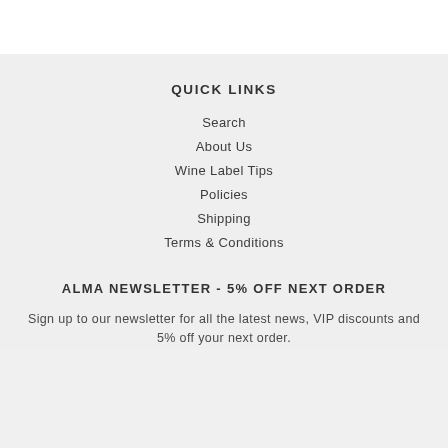QUICK LINKS
Search
About Us
Wine Label Tips
Policies
Shipping
Terms & Conditions
ALMA NEWSLETTER - 5% OFF NEXT ORDER
Sign up to our newsletter for all the latest news, VIP discounts and 5% off your next order.